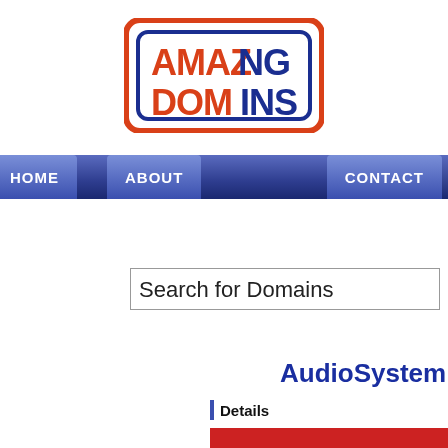[Figure (logo): Amazing Domains logo: orange and dark blue text with rounded rectangle border]
[Figure (screenshot): Navigation bar with HOME, ABOUT, CONTACT menu items on dark blue gradient background]
Search for Domains
AudioSystem
Details
[Figure (screenshot): Red row header bar at bottom of page]